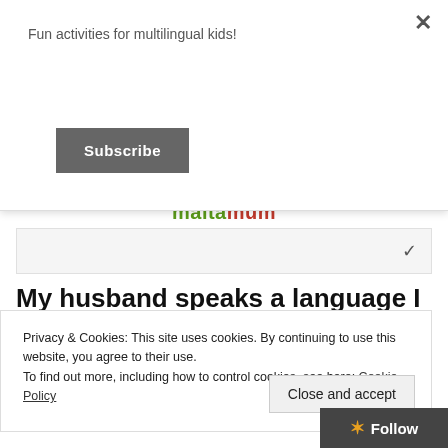Fun activities for multilingual kids!
Subscribe
[Figure (logo): maltamum logo with decorative arc above the text in red and green colors]
My husband speaks a language I don't understand with our children
Privacy & Cookies: This site uses cookies. By continuing to use this website, you agree to their use.
To find out more, including how to control cookies, see here: Cookie Policy
Close and accept
Follow